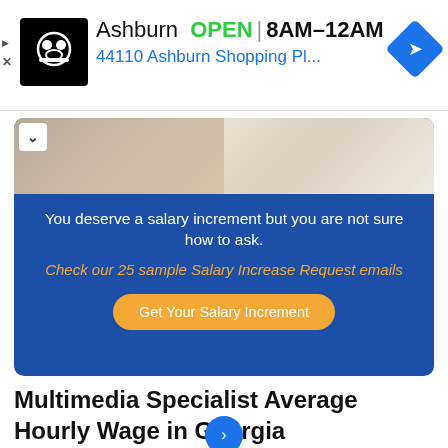[Figure (screenshot): Ad banner for Ashburn restaurant/service showing logo, OPEN status, hours 8AM-12AM, and address 44110 Ashburn Shopping Pl...]
[Figure (infographic): Blue promotional card with photo of desk with laptop and books, text about salary increment, link to 25 sample Salary Increase Request emails, and orange Get Your Salary Increment button]
Multimedia Specialist Average Hourly Wage in Georgia